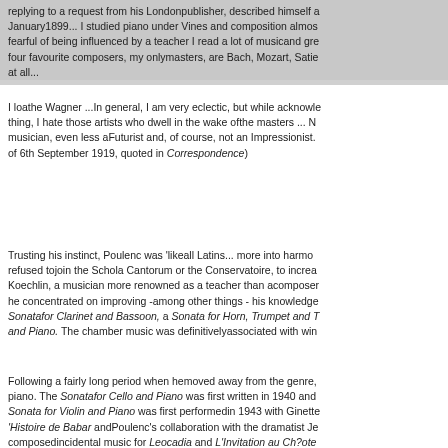replying to a request from his Londonpublisher, described himself a January1899... I studied piano under Vines and composition almos fearful of being influenced by a teacher I read a lot of musicand gre four favourite composers, my onlymasters, are Bach, Mozart, Satie at all...
I loathe Wagner ...In general, I am very eclectic, but while acknowle thing, I hate those artists who dwell in the wake ofthe masters ... N musician, even less aFuturist and, of course, not an Impressionist. of 6th September 1919, quoted in Correspondence)
Trusting his instinct, Poulenc was 'likeall Latins... more into harmo refused tojoin the Schola Cantorum or the Conservatoire, to increa Koechlin, a musician more renowned as a teacher than acomposer he concentrated on improving -among other things - his knowledge Sonatafor Clarinet and Bassoon, a Sonata for Horn, Trumpet and T and Piano. The chamber music was definitivelyassociated with win
Following a fairly long period when hemoved away from the genre, piano. The Sonatafor Cello and Piano was first written in 1940 and Sonata for Violin and Piano was first performedin 1943 with Ginette 'Histoire de Babar andPoulenc's collaboration with the dramatist Je composedincidental music for Leocadia and L'Invitation au Ch?ote creation of a profusion of pieces for two pianos for'les boys' the An